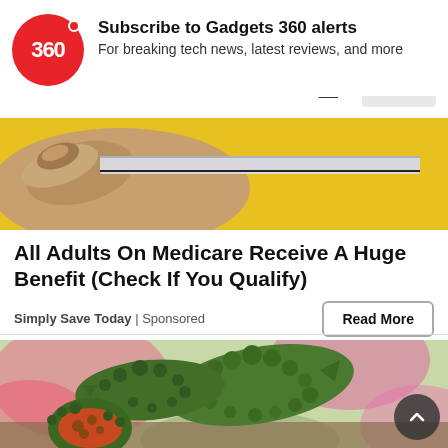[Figure (logo): Gadgets 360 red circle logo with '360' text]
Subscribe to Gadgets 360 alerts
For breaking tech news, latest reviews, and more
No  YES
[Figure (photo): Close-up of a hand holding a thin blade against a yellow surface]
All Adults On Medicare Receive A Huge Benefit (Check If You Qualify)
Simply Save Today | Sponsored
Read More
[Figure (photo): Bitter melon (karela) fruits stacked on a wooden surface with colorful blurred background]